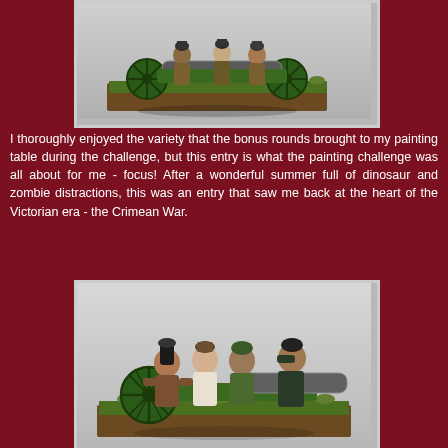[Figure (photo): Painted miniature wargaming figurines of artillery crew with a green cannon on a grass-and-dirt base, photographed against a light grey background. Top image shows the cannon from the side with crew figures.]
I thoroughly enjoyed the variety that the bonus rounds brought to my painting table during the challenge, but this entry is what the painting challenge was all about for me - focus! After a wonderful summer full of dinosaur and zombie distractions, this was an entry that saw me back at the heart of the Victorian era - the Crimean War.
[Figure (photo): Painted miniature wargaming figurines of a Russian Crimean War artillery crew with a green cannon, showing four figures in period uniforms and tall hats on a grass-and-dirt base, photographed against a light grey background.]